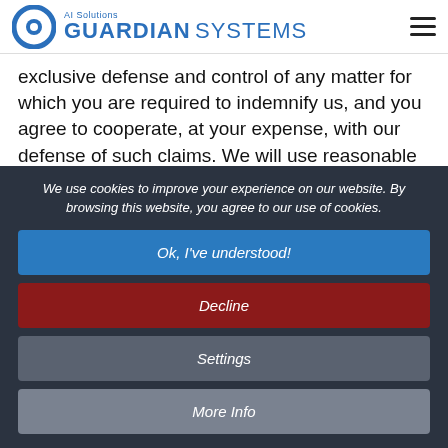[Figure (logo): Guardian Systems AI Solutions logo with eye icon and blue text]
exclusive defense and control of any matter for which you are required to indemnify us, and you agree to cooperate, at your expense, with our defense of such claims. We will use reasonable efforts to notify you of any such claim, action, or proceeding which is subject
We use cookies to improve your experience on our website. By browsing this website, you agree to our use of cookies.
Ok, I've understood!
Decline
Settings
More Info